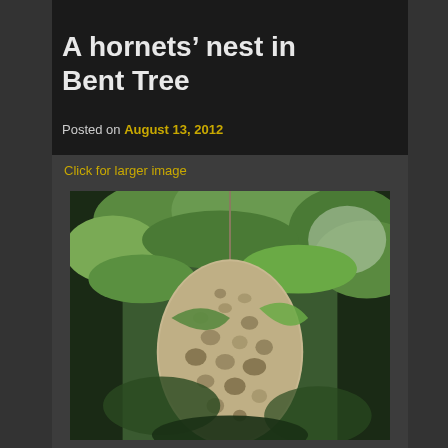A hornets’ nest in Bent Tree
Posted on August 13, 2012
Click for larger image
[Figure (photo): A large hornets nest hanging from tree branches surrounded by green leaves]